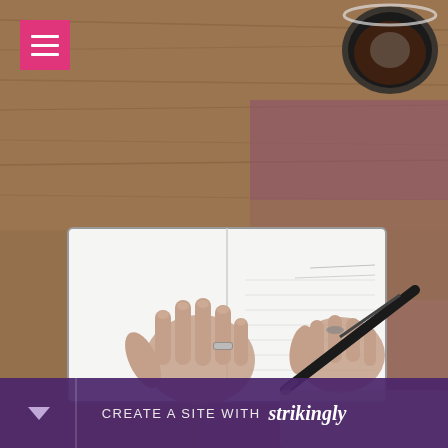[Figure (photo): Overhead/top-down view of a person's two hands on an open blank notebook/journal on a wooden desk. The right hand holds a black pen and appears to be writing. The left hand rests flat with a ring on the ring finger. There is a cup of coffee/tea (dark liquid in a round cup) in the upper right corner of the desk. The desk surface is warm wood tone with some reddish-purple hue. A small pink/magenta hamburger menu icon is in the top-left corner.]
[Figure (screenshot): Bottom banner with purple background reading 'CREATE A SITE WITH strikingly' and a downward arrow on the left side. This is a Strikingly website builder branding banner.]